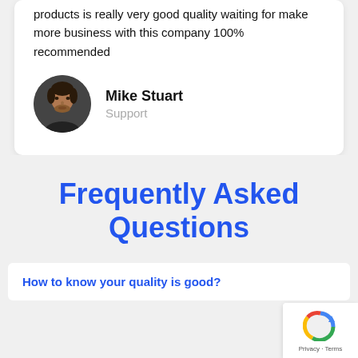products is really very good quality waiting for make more business with this company 100% recommended
[Figure (photo): Circular avatar photo of a man (Mike Stuart)]
Mike Stuart
Support
Frequently Asked Questions
How to know your quality is good?